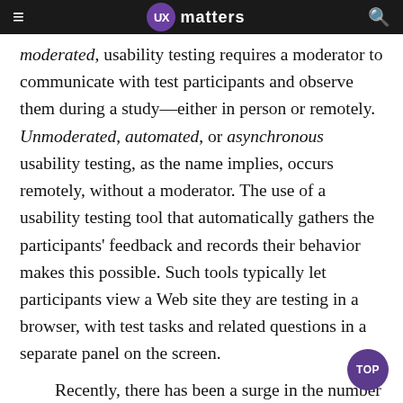UX matters
moderated, usability testing requires a moderator to communicate with test participants and observe them during a study—either in person or remotely. Unmoderated, automated, or asynchronous usability testing, as the name implies, occurs remotely, without a moderator. The use of a usability testing tool that automatically gathers the participants' feedback and records their behavior makes this possible. Such tools typically let participants view a Web site they are testing in a browser, with test tasks and related questions in a separate panel on the screen.
Recently, there has been a surge in the number of tools that are available for conducting